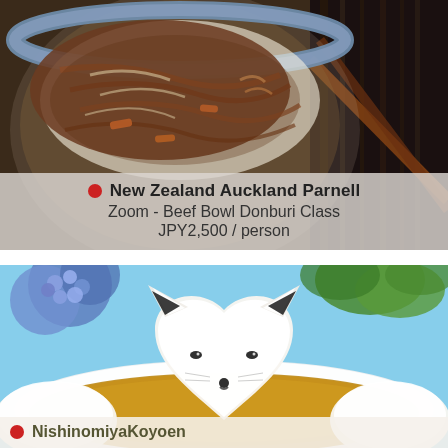[Figure (photo): Photo of a Japanese beef bowl (gyudon/donburi) in a blue-patterned ceramic bowl with meat, vegetables and rice, with chopsticks visible on the right side]
New Zealand Auckland Parnell
Zoom - Beef Bowl Donburi Class
JPY2,500 / person
[Figure (photo): Photo of a creative Japanese curry rice dish shaped like a white fox face made of rice, with black sesame seed eyes and nori accents, floating in golden curry sauce on a white plate, with blue hydrangea flowers in background]
NishinomiyaKoyoen